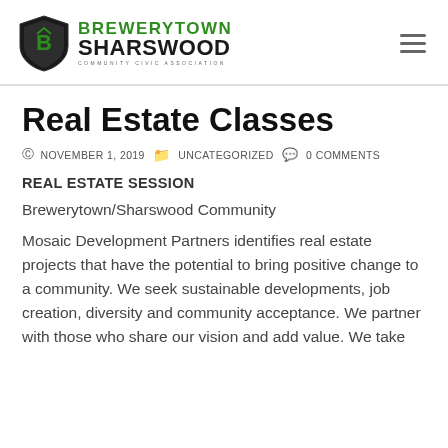[Figure (logo): Brewerytown Sharswood Community Civic Association logo with shield icon and green/black text]
Real Estate Classes
© NOVEMBER 1, 2019   UNCATEGORIZED   0 COMMENTS
REAL ESTATE SESSION
Brewerytown/Sharswood Community
Mosaic Development Partners identifies real estate projects that have the potential to bring positive change to a community. We seek sustainable developments, job creation, diversity and community acceptance. We partner with those who share our vision and add value. We take